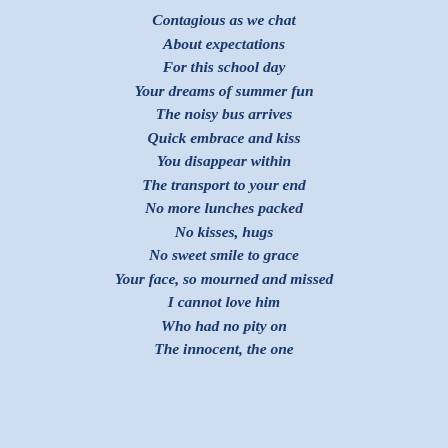Contagious as we chat
About expectations
For this school day
Your dreams of summer fun
The noisy bus arrives
Quick embrace and kiss
You disappear within
The transport to your end
No more lunches packed
No kisses, hugs
No sweet smile to grace
Your face, so mourned and missed
I cannot love him
Who had no pity on
The innocent, the one